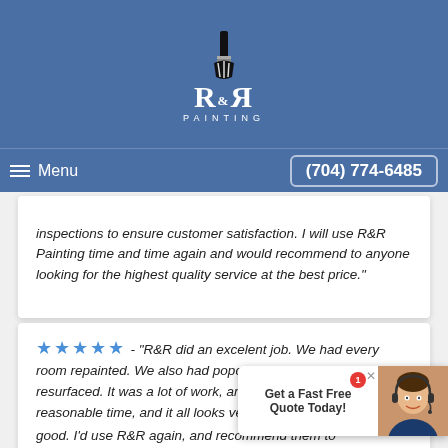[Figure (logo): R&R Painting logo with paintbrush icon on blue background]
Menu    (704) 774-6485
inspections to ensure customer satisfaction. I will use R&R Painting time and time again and would recommend to anyone looking for the highest quality service at the best price."
★★★★★ - "R&R did an excelent job. We had every room repainted. We also had popcorn taken down and ceilings resurfaced. It was a lot of work, and they were done in a very reasonable time, and it all looks very good. I'd use R&R again, and recommend them to
[Figure (illustration): Chat widget overlay showing 'Get a Fast Free Quote Today!' with agent photo and badge showing 1 notification]